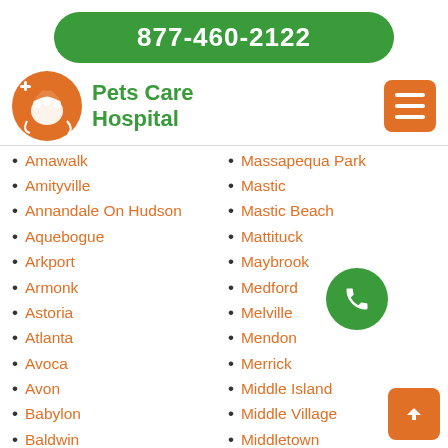877-460-2122
[Figure (logo): Pets Care Hospital logo with orange paw/animal circle icon and green text]
Amawalk
Amityville
Annandale On Hudson
Aquebogue
Arkport
Armonk
Astoria
Atlanta
Avoca
Avon
Babylon
Baldwin
Massapequa Park
Mastic
Mastic Beach
Mattituck
Maybrook
Medford
Melville
Mendon
Merrick
Middle Island
Middle Village
Middletown